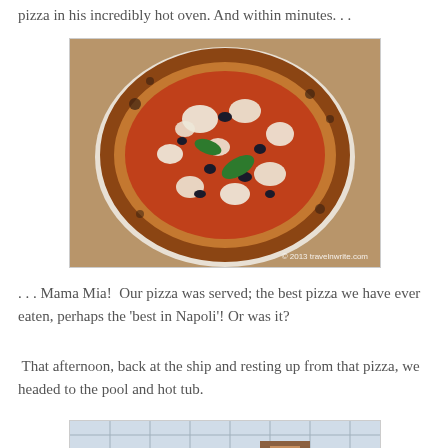pizza in his incredibly hot oven. And within minutes. . .
[Figure (photo): A Neapolitan pizza with tomato sauce, mozzarella, olives and basil leaves on a white plate, photographed from above. Watermark reads: © 2013 travelnwrite.com]
. . . Mama Mia!  Our pizza was served; the best pizza we have ever eaten, perhaps the 'best in Napoli'! Or was it?
That afternoon, back at the ship and resting up from that pizza, we headed to the pool and hot tub.
[Figure (photo): Interior of a cruise ship pool area with glass ceiling and lounge chairs visible.]